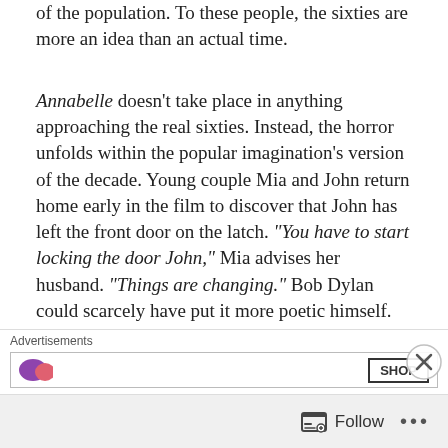of the population. To these people, the sixties are more an idea than an actual time.
Annabelle doesn't take place in anything approaching the real sixties. Instead, the horror unfolds within the popular imagination's version of the decade. Young couple Mia and John return home early in the film to discover that John has left the front door on the latch. "You have to start locking the door John," Mia advises her husband. "Things are changing." Bob Dylan could scarcely have put it more poetic himself.
[Figure (photo): Film still showing characters from Annabelle: a blonde woman, a man in a white shirt, an older bearded man in black, and a young woman with braided hair, in an indoor setting.]
Advertisements
[Figure (other): Advertisement bar with purple and pink blob shapes and a SHOP button.]
Follow